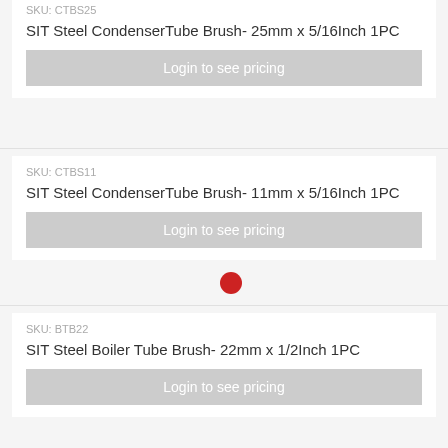SKU: CTBS25
SIT Steel CondenserTube Brush- 25mm x 5/16Inch 1PC
Login to see pricing
SKU: CTBS11
SIT Steel CondenserTube Brush- 11mm x 5/16Inch 1PC
Login to see pricing
SKU: BTB22
SIT Steel Boiler Tube Brush- 22mm x 1/2Inch 1PC
Login to see pricing